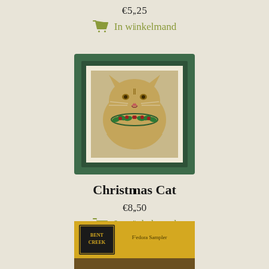€5,25
In winkelmand
[Figure (photo): Cross-stitch embroidery of a cat's face wearing a Christmas holly garland collar, framed in a dark green wooden frame, mounted on burlap-colored fabric]
Christmas Cat
€8,50
In winkelmand
[Figure (photo): Partial view of a Bent Creek cross-stitch pattern booklet at the bottom of the page, showing 'Fedora Sampler' text on a yellowish cover with decorative border]